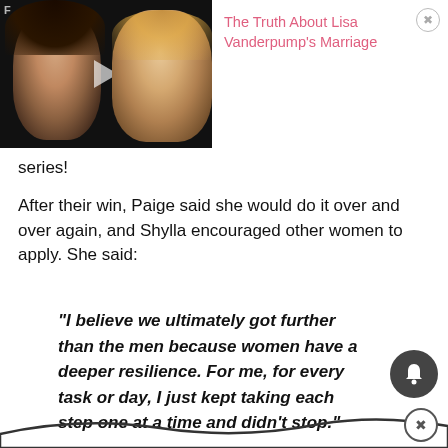[Figure (photo): Ad banner showing two people (a woman and a man) side by side on a dark background with a play icon overlay, alongside text 'The Truth About Lisa Vanderpump's Marriage' in pink with a close X button]
series!
After their win, Paige said she would do it over and over again, and Shylla encouraged other women to apply. She said:
“I believe we ultimately got further than the men because women have a deeper resilience. For me, for every task or day, I just kept taking each step one at a time and didn’t stop.”